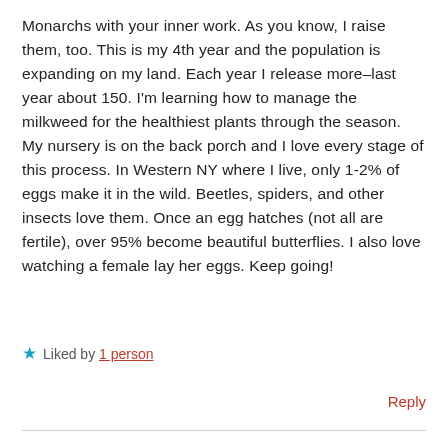Monarchs with your inner work. As you know, I raise them, too. This is my 4th year and the population is expanding on my land. Each year I release more–last year about 150. I'm learning how to manage the milkweed for the healthiest plants through the season. My nursery is on the back porch and I love every stage of this process. In Western NY where I live, only 1-2% of eggs make it in the wild. Beetles, spiders, and other insects love them. Once an egg hatches (not all are fertile), over 95% become beautiful butterflies. I also love watching a female lay her eggs. Keep going!
★ Liked by 1 person
Reply